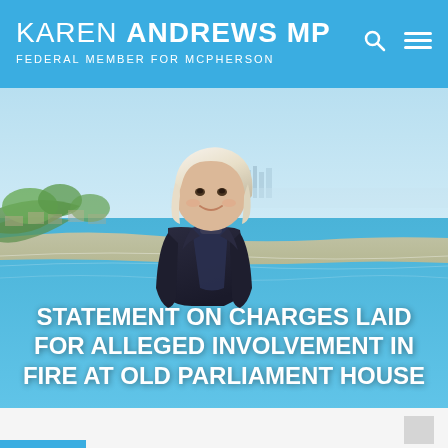KAREN ANDREWS MP · Federal Member for McPherson
[Figure (photo): Hero image of Karen Andrews MP, a woman with blonde hair wearing a dark blazer, standing in front of an aerial coastal background showing a beach, ocean, and city skyline (Gold Coast, Queensland, Australia).]
STATEMENT ON CHARGES LAID FOR ALLEGED INVOLVEMENT IN FIRE AT OLD PARLIAMENT HOUSE